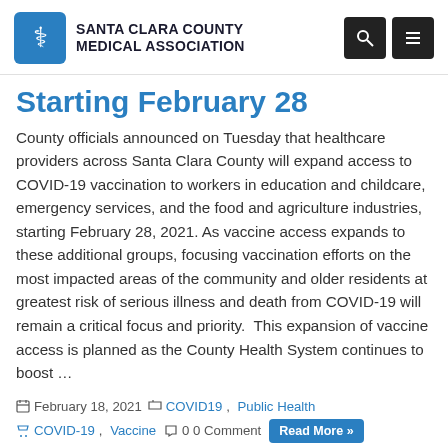SANTA CLARA COUNTY MEDICAL ASSOCIATION
Starting February 28
County officials announced on Tuesday that healthcare providers across Santa Clara County will expand access to COVID-19 vaccination to workers in education and childcare, emergency services, and the food and agriculture industries, starting February 28, 2021. As vaccine access expands to these additional groups, focusing vaccination efforts on the most impacted areas of the community and older residents at greatest risk of serious illness and death from COVID-19 will remain a critical focus and priority.  This expansion of vaccine access is planned as the County Health System continues to boost …
February 18, 2021  COVID19, Public Health  COVID-19, Vaccine  0 0 Comment  Read More »